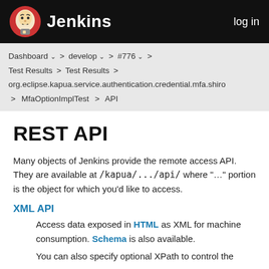Jenkins  log in
Dashboard > develop > #776 > Test Results > Test Results > org.eclipse.kapua.service.authentication.credential.mfa.shiro > MfaOptionImplTest > API
REST API
Many objects of Jenkins provide the remote access API. They are available at /kapua/.../api/ where "…" portion is the object for which you'd like to access.
XML API
Access data exposed in HTML as XML for machine consumption. Schema is also available.
You can also specify optional XPath to control the